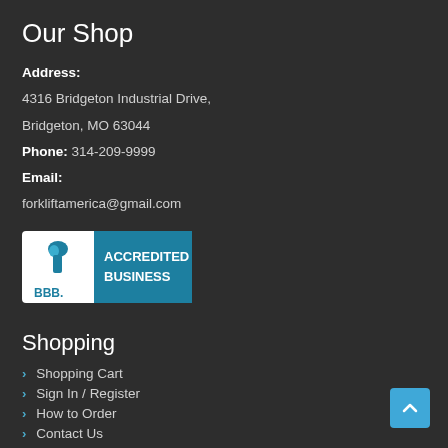Our Shop
Address:
4316 Bridgeton Industrial Drive,
Bridgeton, MO 63044
Phone: 314-209-9999
Email:
forkliftamerica@gmail.com
[Figure (logo): BBB Accredited Business logo with torch symbol]
Shopping
Shopping Cart
Sign In / Register
How to Order
Contact Us
Shipping & Returns
Shipping Policy